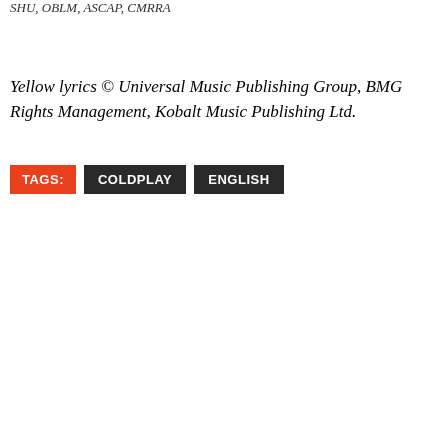SHU, OBLM, ASCAP, CMRRA
Yellow lyrics © Universal Music Publishing Group, BMG Rights Management, Kobalt Music Publishing Ltd.
TAGS: COLDPLAY ENGLISH